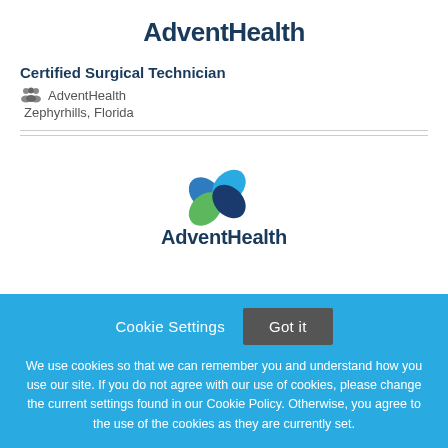[Figure (logo): AdventHealth logo at top of page, dark blue text with leaf/petal icon]
Certified Surgical Technician
AdventHealth
Zephyrhills, Florida
[Figure (logo): AdventHealth logo in center of page with colorful leaf icon above text]
Cookie Settings   Got it
We use cookies so that we can remember you and understand how you use our site. If you do not agree with our use of cookies, please change the current settings found in our Cookie Policy. Otherwise, you agree to the use of the cookies as they are currently set.